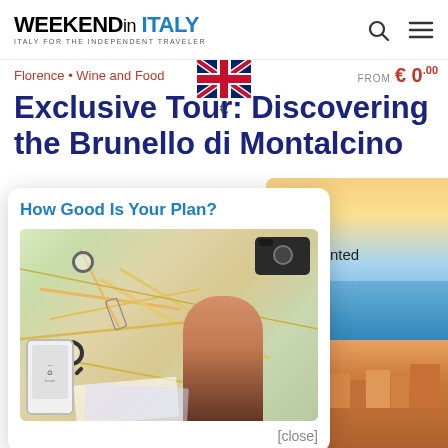WEEKEND in ITALY — ITALY FOR THE INDEPENDENT TRAVELER
Florence • Wine and Food
FROM €0.00
Exclusive Tour: Discovering the Brunello di Montalcino
Montalcino is an ancient hilltop town, famous for the … ering this enchanted
How Good Is Your Plan?
[Figure (photo): Person's hand pointing at a map on a table, with a camera, magnifying glass, compass, and smartphone nearby — travel planning scene]
[close]
[Figure (photo): Coastal Italian town with colorful buildings and turquoise sea, viewed from above at sunset]